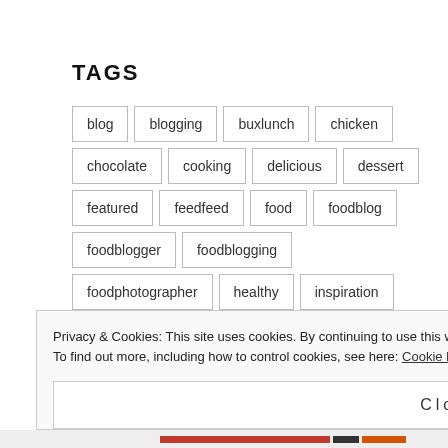TAGS
blog
blogging
buxlunch
chicken
chocolate
cooking
delicious
dessert
featured
feedfeed
food
foodblog
foodblogger
foodblogging
foodphotographer
healthy
inspiration
instafood
instagood
italianfood
jamieoliver
lightlunch
lunch
Privacy & Cookies: This site uses cookies. By continuing to use this website, you agree to their use.
To find out more, including how to control cookies, see here: Cookie Policy
Close and accept